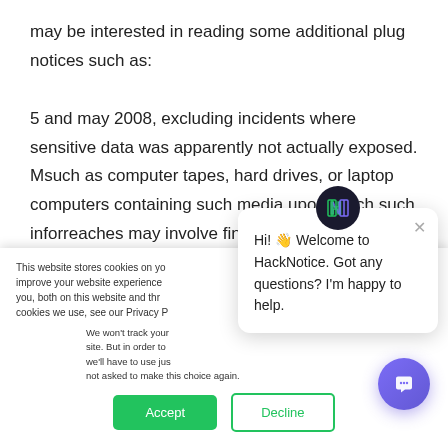may be interested in reading some additional plug notices such as:
5 and may 2008, excluding incidents where sensitive data was apparently not actually exposed. Msuch as computer tapes, hard drives, or laptop computers containing such media upon which such inforreaches may involve financial information such as citation
This website stores cookies on your computer. These are used to improve your website experience you, both on this website and through cookies we use, see our Privacy P
We won't track your site. But in order to we'll have to use jus not asked to make this choice again.
Hi! 👋 Welcome to HackNotice. Got any questions? I'm happy to help.
Accept
Decline